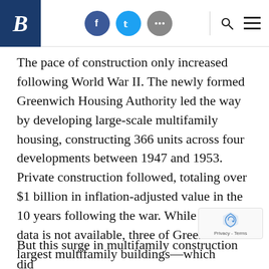Brookings Institution navigation header with logo, social icons (Facebook, Twitter, more), search, and menu
The pace of construction only increased following World War II. The newly formed Greenwich Housing Authority led the way by developing large-scale multifamily housing, constructing 366 units across four developments between 1947 and 1953. Private construction followed, totaling over $1 billion in inflation-adjusted value in the 10 years following the war. While complete data is not available, three of Greenwich’s largest multifamily buildings—which include well over 500 units altogether—were built between 1945 and 1955.
But this surge in multifamily construction did long. In 1952, a new Planning and Zoning